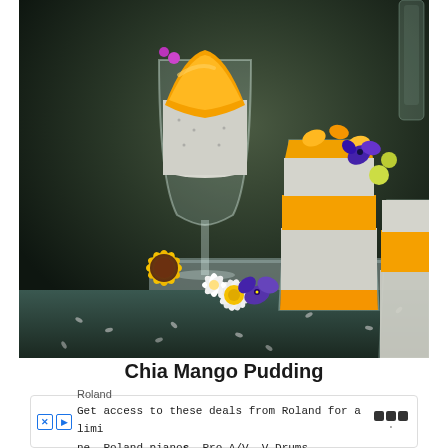[Figure (photo): Food photography showing three servings of chia mango pudding — one in a wide coupe glass and two in tumbler glasses — layered with white chia pudding and bright orange mango puree, garnished with edible flowers (yellow daisy, purple pansy/violet), and scattered chia seeds on a dark teal surface.]
Chia Mango Pudding
Roland
Get access to these deals from Roland for a limi
ne. Roland pianos, Pro A/V, V-Drums.